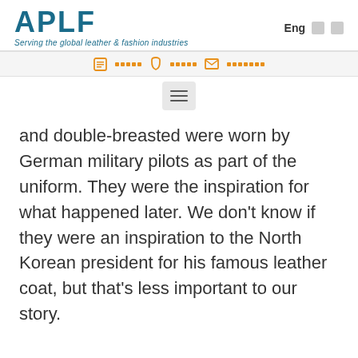APLF — Serving the global leather & fashion industries
[Figure (screenshot): APLF website navigation bar with contact icons and hamburger menu]
and double-breasted were worn by German military pilots as part of the uniform. They were the inspiration for what happened later. We don't know if they were an inspiration to the North Korean president for his famous leather coat, but that's less important to our story.